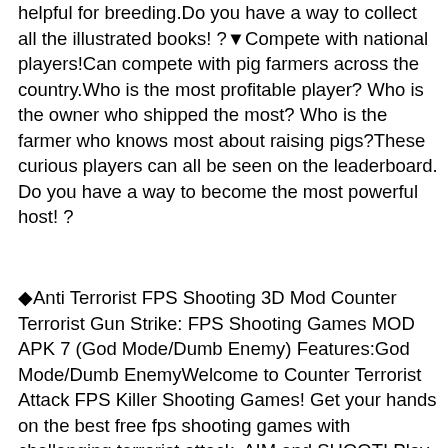helpful for breeding.Do you have a way to collect all the illustrated books! ? ▼Compete with national players!Can compete with pig farmers across the country.Who is the most profitable player? Who is the owner who shipped the most? Who is the farmer who knows most about raising pigs?These curious players can all be seen on the leaderboard. Do you have a way to become the most powerful host! ?
◆Anti Terrorist FPS Shooting 3D Mod Counter Terrorist Gun Strike: FPS Shooting Games MOD APK 7 (God Mode/Dumb Enemy) Features:God Mode/Dumb EnemyWelcome to Counter Terrorist Attack FPS Killer Shooting Games! Get your hands on the best free fps shooting games with challenging terrorist attack. AIM and SHOOT! Play